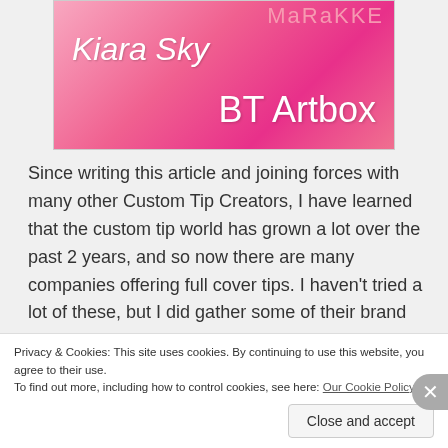[Figure (illustration): Pink gradient promotional banner showing 'Kiara Sky' text in white cursive on the left, 'MaRaKKE' in light pink at the top right, and 'BT Artbox' in large white cursive at the bottom right]
Since writing this article and joining forces with many other Custom Tip Creators, I have learned that the custom tip world has grown a lot over the past 2 years, and so now there are many companies offering full cover tips. I haven't tried a lot of these, but I did gather some of their brand names and
Privacy & Cookies: This site uses cookies. By continuing to use this website, you agree to their use.
To find out more, including how to control cookies, see here: Our Cookie Policy
Close and accept